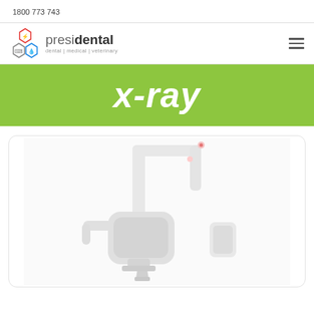1800 773 743
[Figure (logo): Presidental logo with three hexagonal icons (lightning bolt, wrench, water drop) and text 'presidental dental | medical | veterinary']
x-ray
[Figure (photo): A white dental x-ray unit/machine photographed on white background inside a rounded-corner card]